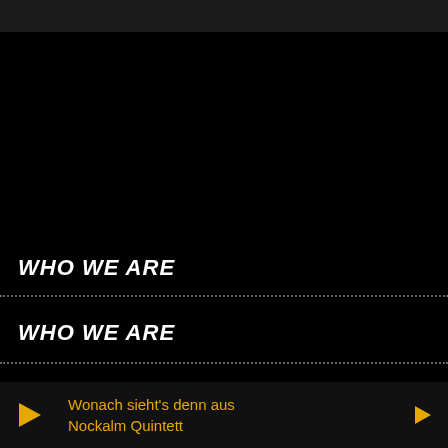WHO WE ARE
WHO WE ARE
Wonach sieht's denn aus
Nockalm Quintett